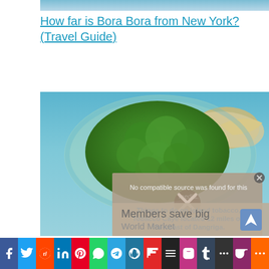[Figure (photo): Aerial view of tropical island with turquoise water, partial view at top]
How far is Bora Bora from New York? (Travel Guide)
[Figure (photo): Aerial view of a small tropical island covered in dense green trees with sandy shoreline surrounded by turquoise water. A video overlay popup shows 'No compatible source was found for this media.' with a close X button. Blue text reads 'Things to do on island tobacco, Tobacco Caye located 12 miles off the coast of Dangriga.' Below is an ad overlay reading 'Members save big World Market' with a navigation arrow icon.]
Social share bar with Facebook, Twitter, Reddit, LinkedIn, Pinterest, WhatsApp, Telegram, WordPress, Flipboard, Instagram, Tumblr, Mix, Pocket, More buttons